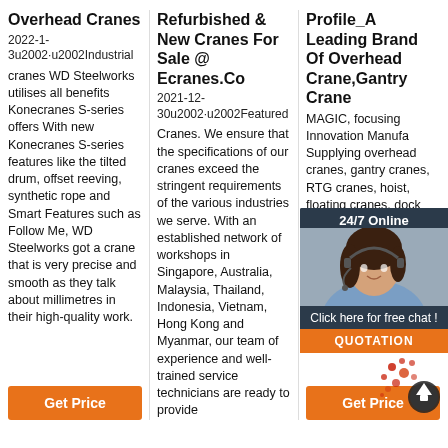Overhead Cranes
2022-1-3u2002·u2002Industrial cranes WD Steelworks utilises all benefits Konecranes S-series offers With new Konecranes S-series features like the tilted drum, offset reeving, synthetic rope and Smart Features such as Follow Me, WD Steelworks got a crane that is very precise and smooth as they talk about millimetres in their high-quality work.
Get Price
Refurbished & New Cranes For Sale @ Ecranes.Co
2021-12-30u2002·u2002Featured Cranes. We ensure that the specifications of our cranes exceed the stringent requirements of the various industries we serve. With an established network of workshops in Singapore, Australia, Malaysia, Thailand, Indonesia, Vietnam, Hong Kong and Myanmar, our team of experience and well-trained service technicians are ready to provide
Profile_A Leading Brand Of Overhead Crane,Gantry Crane
MAGIC, focusing Innovation Manufa Supplying overhead cranes, gantry cranes, RTG cranes, hoist, floating cranes, dock arm, jib cranes, electric hoist, winches and entire project services, which include site inspection, project ...
Get Price
[Figure (photo): Chat widget with woman headset photo and 24/7 Online label, Click here for free chat button and orange QUOTATION button]
[Figure (other): Red paint splatter dots and circular scroll-up arrow icon]